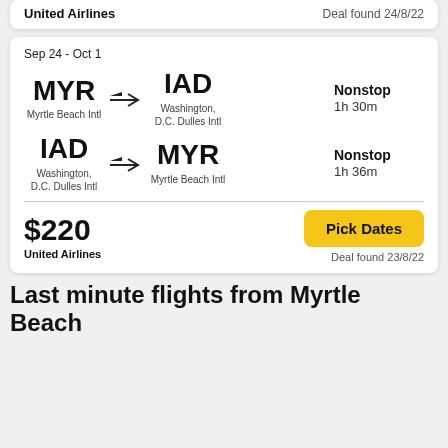United Airlines — Deal found 24/8/22
Sep 24 - Oct 1
MYR → IAD | Myrtle Beach Intl → Washington, D.C. Dulles Intl | Nonstop | 1h 30m
IAD → MYR | Washington, D.C. Dulles Intl → Myrtle Beach Intl | Nonstop | 1h 36m
$220 | United Airlines
Pick Dates — Deal found 23/8/22
Last minute flights from Myrtle Beach